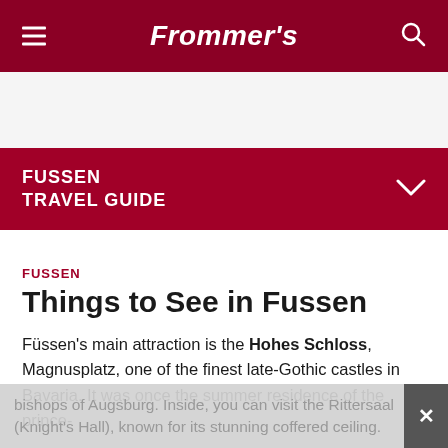Frommer's
[Figure (other): Advertisement / blank ad area]
FUSSEN TRAVEL GUIDE
Things to See in Fussen
FUSSEN
Füssen's main attraction is the Hohes Schloss, Magnusplatz, one of the finest late-Gothic castles in Bavaria. It was once the summer residence of the prince-bishops of Augsburg. Inside, you can visit the Rittersaal (Knight's Hall), known for its stunning coffered ceiling.